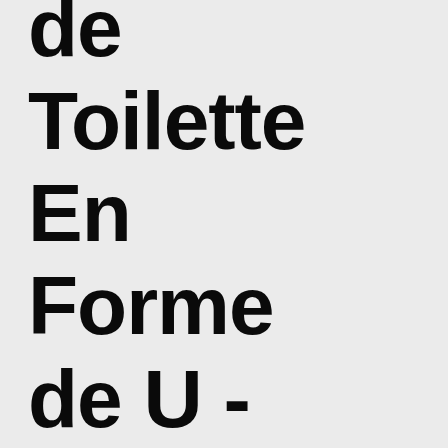de Toilette En Forme de U - Main C…